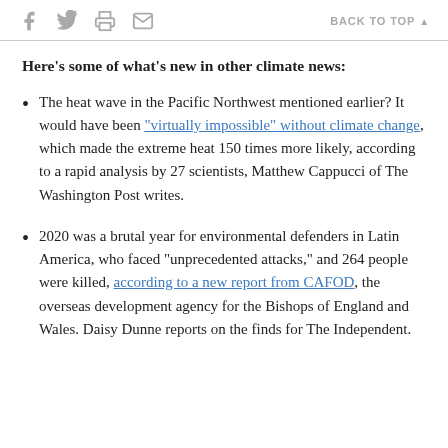f  [twitter]  [print]  [email]   BACK TO TOP ▲
Here's some of what's new in other climate news:
The heat wave in the Pacific Northwest mentioned earlier? It would have been "virtually impossible" without climate change, which made the extreme heat 150 times more likely, according to a rapid analysis by 27 scientists, Matthew Cappucci of The Washington Post writes.
2020 was a brutal year for environmental defenders in Latin America, who faced "unprecedented attacks," and 264 people were killed, according to a new report from CAFOD, the overseas development agency for the Bishops of England and Wales. Daisy Dunne reports on the finds for The Independent.